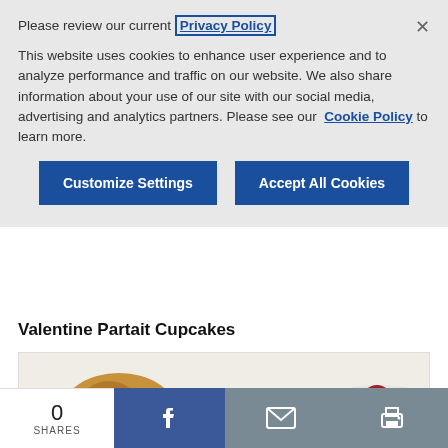Please review our current Privacy Policy
This website uses cookies to enhance user experience and to analyze performance and traffic on our website. We also share information about your use of our site with our social media, advertising and analytics partners. Please see our Cookie Policy to learn more.
Customize Settings
Accept All Cookies
Valentine Partait Cupcakes
[Figure (photo): Close-up photo of Valentine Partait Cupcakes with a cherry on top, whipped cream, and a bowl of cherries in the background]
0 SHARES
[Figure (infographic): Social sharing bar with Facebook, email, and print icons]